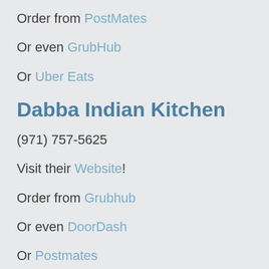Order from PostMates
Or even GrubHub
Or Uber Eats
Dabba Indian Kitchen
(971) 757-5625
Visit their Website!
Order from Grubhub
Or even DoorDash
Or Postmates
Or Seamless